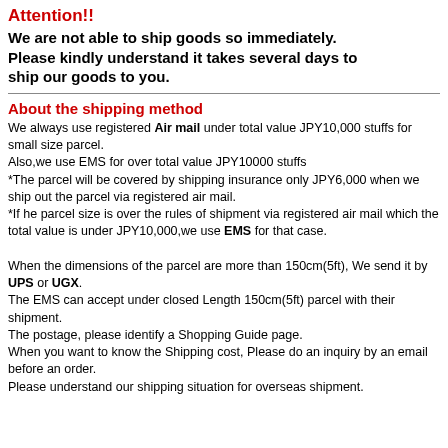Attention!!
We are not able to ship goods so immediately. Please kindly understand it takes several days to ship our goods to you.
About the shipping method
We always use registered Air mail under total value JPY10,000 stuffs for small size parcel.
Also,we use EMS for over total value JPY10000 stuffs
*The parcel will be covered by shipping insurance only JPY6,000 when we ship out the parcel via registered air mail.
*If he parcel size is over the rules of shipment via registered air mail which the total value is under JPY10,000,we use EMS for that case.

When the dimensions of the parcel are more than 150cm(5ft), We send it by UPS or UGX.
The EMS can accept under closed Length 150cm(5ft) parcel with their shipment.
The postage, please identify a Shopping Guide page.
When you want to know the Shipping cost, Please do an inquiry by an email before an order.
Please understand our shipping situation for overseas shipment.